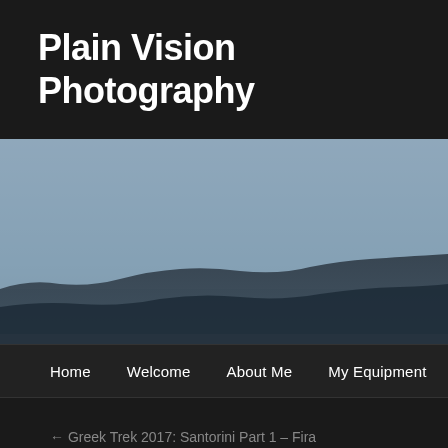Plain Vision Photography
[Figure (photo): Landscape photo showing a misty coastal or hillside scene with dark silhouetted landmass against a hazy blue-grey sky]
Home   Welcome   About Me   My Equipment
← Greek Trek 2017: Santorini Part 1 – Fira